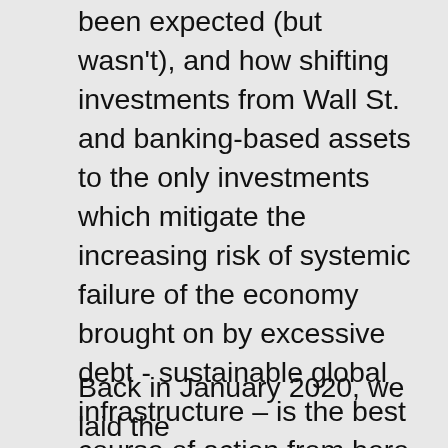been expected (but wasn't), and how shifting investments from Wall St. and banking-based assets to the only investments which mitigate the increasing risk of systemic failure of the economy brought on by excessive debt - sustainable global infrastructure – is the best course of action from here. Only by investing in nature-based assets with lasting inherent value such as land, shelter, food, water quality, and other ecosystem restoration services will we mitigate the increasing systemic economic risk and achieve the short- and long-term wealth gains we all strive to achieve.
Back in January 2020, we laid the